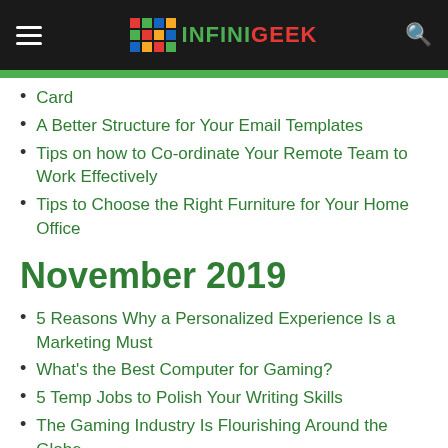INFINIGEEK
Card
A Better Structure for Your Email Templates
Tips on how to Co-ordinate Your Remote Team to Work Effectively
Tips to Choose the Right Furniture for Your Home Office
November 2019
5 Reasons Why a Personalized Experience Is a Marketing Must
What's the Best Computer for Gaming?
5 Temp Jobs to Polish Your Writing Skills
The Gaming Industry Is Flourishing Around the Globe
5 Key Features of the Best Log Management Tools
How to Buy Bitcoins?
A Simple Solution To Designing And Printing Your Own T-